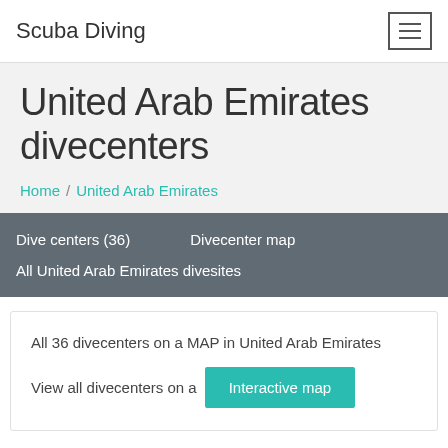Scuba Diving
United Arab Emirates divecenters
Home / United Arab Emirates
Dive centers (36)    Divecenter map
All United Arab Emirates divesites
All 36 divecenters on a MAP in United Arab Emirates
View all divecenters on a  Interactive map